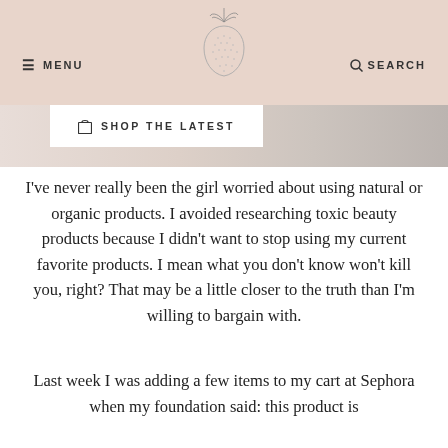≡ MENU  [strawberry logo]  🔍 SEARCH
🛍 SHOP THE LATEST
[Figure (photo): Partial view of a styled photo scene with light background, possibly beauty/lifestyle imagery]
I've never really been the girl worried about using natural or organic products. I avoided researching toxic beauty products because I didn't want to stop using my current favorite products. I mean what you don't know won't kill you, right? That may be a little closer to the truth than I'm willing to bargain with.
Last week I was adding a few items to my cart at Sephora when my foundation said: this product is